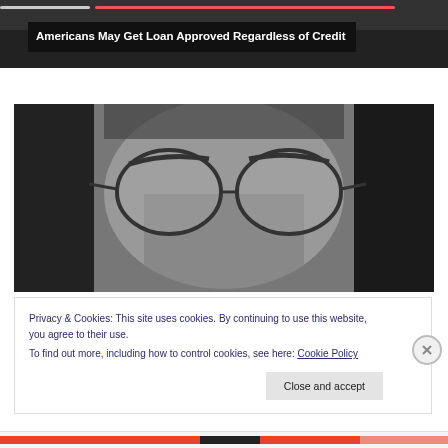[Figure (photo): Dark blurred top portion of webpage showing a background photo, with a progress bar indicator at top]
Americans May Get Loan Approved Regardless of Credit
[Figure (photo): Black and white close-up photograph of a young person with long hair wearing round wire-frame glasses]
Privacy & Cookies: This site uses cookies. By continuing to use this website, you agree to their use.
To find out more, including how to control cookies, see here: Cookie Policy
Close and accept